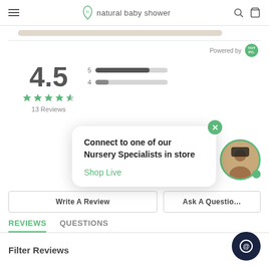natural baby shower
Powered by YOTPO
4.5
★★★★½
13 Reviews
[Figure (infographic): Rating bar chart showing 5-star and 4-star distribution bars]
Connect to one of our Nursery Specialists in store
Shop Live
Write A Review
Ask A Question
REVIEWS
QUESTIONS
Filter Reviews